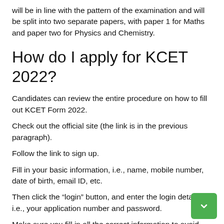will be in line with the pattern of the examination and will be split into two separate papers, with paper 1 for Maths and paper two for Physics and Chemistry.
How do I apply for KCET 2022?
Candidates can review the entire procedure on how to fill out KCET Form 2022.
Check out the official site (the link is in the previous paragraph).
Follow the link to sign up.
Fill in your basic information, i.e., name, mobile number, date of birth, email ID, etc.
Then click the “login” button, and enter the login details, i.e., your application number and password.
Make sure you fill in all the correct information to avoid rejecting the application.
Complete the form with personal and academic, i.e., address, parents’ details, and click the submit button.
After filling in all the personal and details, you can upload...